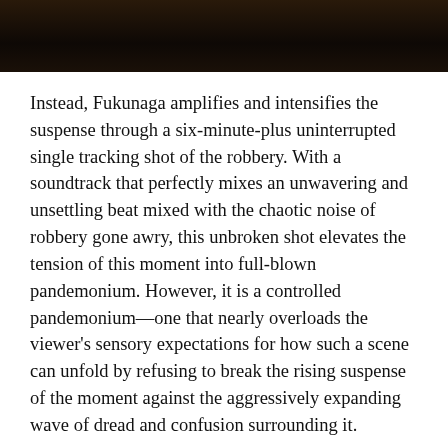[Figure (photo): Dark-toned photograph strip at the top of the page, showing a dimly lit scene with brown and dark tones, partially cropped.]
Instead, Fukunaga amplifies and intensifies the suspense through a six-minute-plus uninterrupted single tracking shot of the robbery. With a soundtrack that perfectly mixes an unwavering and unsettling beat mixed with the chaotic noise of robbery gone awry, this unbroken shot elevates the tension of this moment into full-blown pandemonium. However, it is a controlled pandemonium—one that nearly overloads the viewer's sensory expectations for how such a scene can unfold by refusing to break the rising suspense of the moment against the aggressively expanding wave of dread and confusion surrounding it.
Despite knowing that both detectives will obviously remain unharmed in their future 2012 interviews, this sequence just demonstrates with extraordinary aplomb—like the series itself—its incredible control of craft and ability to transcend